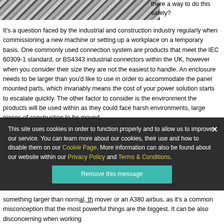[Figure (photo): Diagonal striped cables/wires image in top left corner]
there a way to do this safely?
It's a question faced by the industrial and construction industry regularly when commissioning a new machine or setting up a workplace on a temporary basis. One commonly used connection system are products that meet the IEC 60309-1 standard, or BS4343 industrial connectors within the UK, however when you consider their size they are not the easiest to handle. An enclosure needs to be larger than you'd like to use in order to accommodate the panel mounted parts, which invariably means the cost of your power solution starts to escalate quickly. The other factor to consider is the environment the products will be used within as they could face harsh environments, large pieces of construction to be moved,
This site uses cookies in order to function properly and to allow us to improve our service. You can learn more about our cookies, their use and how to disable them on our Cookie Page. More information can also be found about our website within our Privacy Policy and Terms & Conditions.
something larger than norm... mover or an A380 airbus, as it's a common misconception that the most powerful things are the biggest. It can be also disconcerning when working